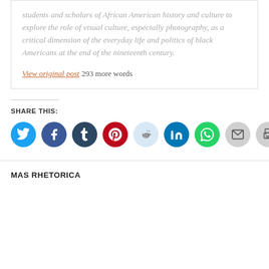students and scholars of African American history and culture to explore the role of visual culture, especially photography, as a critical dimension of the everyday life and politics of black Americans at the end of the nineteenth century.
View original post 293 more words
SHARE THIS:
[Figure (infographic): Row of social media share buttons: Twitter (blue), Facebook (blue), Tumblr (dark blue), Pinterest (red), Reddit (light blue), LinkedIn (blue), WhatsApp (green), Email (gray), Print (gray)]
MAS RHETORICA